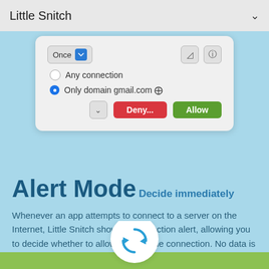Little Snitch
[Figure (screenshot): macOS dialog panel showing connection alert options: 'Once' dropdown with blue stepper, radio buttons for 'Any connection' and 'Only domain gmail.com', and Deny/Allow buttons]
Alert Mode
Decide immediately
Whenever an app attempts to connect to a server on the Internet, Little Snitch shows a connection alert, allowing you to decide whether to allow or deny the connection. No data is transmitted without your consent. Your decision will be remembered and applied automatically in the future.
[Figure (illustration): White circle with blue refresh/sync arrows icon, positioned at bottom center over green strip]